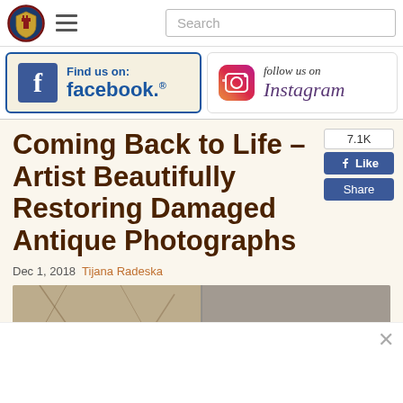Navigation bar with logo, hamburger menu, and search box
[Figure (logo): Website logo — shield with tower emblem]
[Figure (screenshot): Find us on Facebook banner with Facebook logo]
[Figure (screenshot): Follow us on Instagram banner with Instagram camera icon]
Coming Back to Life – Artist Beautifully Restoring Damaged Antique Photographs
Dec 1, 2018  Tijana Radeska
[Figure (photo): Antique photograph being restored — split view showing damaged and restored versions]